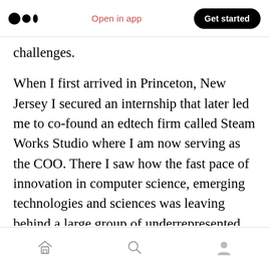Medium app header with logo, 'Open in app' link, and 'Get started' button
challenges.
When I first arrived in Princeton, New Jersey I secured an internship that later led me to co-found an edtech firm called Steam Works Studio where I am now serving as the COO. There I saw how the fast pace of innovation in computer science, emerging technologies and sciences was leaving behind a large group of underrepresented students and communities. I’m passionate about positively impacting the way millions of students learn across the world, this
Bottom navigation bar with home, search, and profile icons